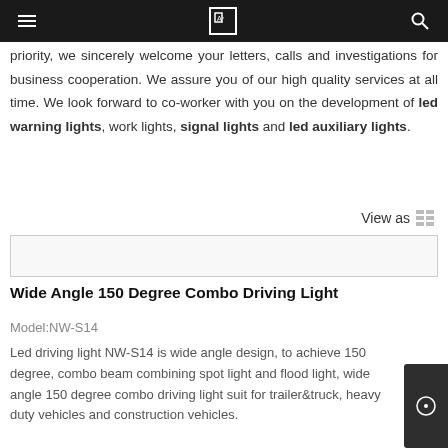priority, we sincerely welcome your letters, calls and investigations for business cooperation. We assure you of our high quality services at all time. We look forward to co-worker with you on the development of led warning lights, work lights, signal lights and led auxiliary lights.
View as
[Figure (photo): Product image placeholder for Wide Angle 150 Degree Combo Driving Light]
Wide Angle 150 Degree Combo Driving Light
Model:NW-S14
Led driving light NW-S14 is wide angle design, to achieve 150 degree, combo beam combining spot light and flood light, wide angle 150 degree combo driving light suit for trailer&truck, heavy duty vehicles and construction vehicles.